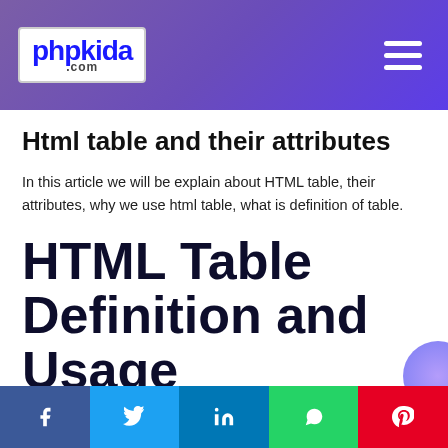phpkida.com
Html table and their attributes
In this article we will be explain about HTML table, their attributes, why we use html table, what is definition of table.
HTML Table Definition and Usage
Facebook Twitter LinkedIn WhatsApp Pinterest